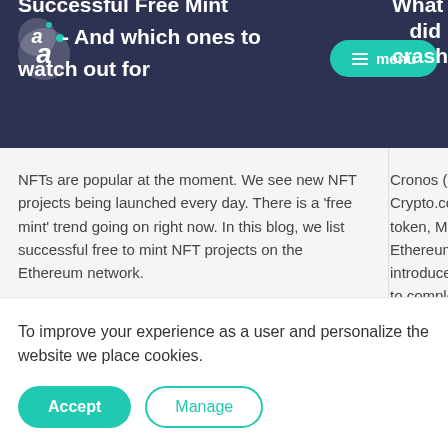Successful Free Mint NFT - And which ones to watch out for  |  What is Cronos - did it crash?
NFTs are popular at the moment. We see new NFT projects being launched every day. There is a 'free mint' trend going on right now. In this blog, we list successful free to mint NFT projects on the Ethereum network.
Cronos (CRO) is the native token of Crypto.com, separate from its original token, MCO, both of which operate on Ethereum's ERC-20 standard. CRO was introduced in early 2018 as a means to complement the MCO token, allowing individuals to access services of different tiers on the Crypto.com ecosystem.
To improve your experience as a user and personalize the website we place cookies.